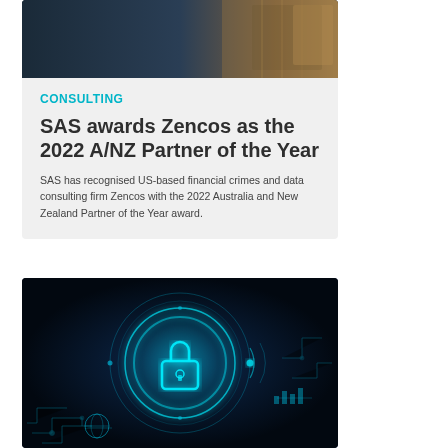[Figure (photo): Dark tech/data center background image with golden/amber tones]
CONSULTING
SAS awards Zencos as the 2022 A/NZ Partner of the Year
SAS has recognised US-based financial crimes and data consulting firm Zencos with the 2022 Australia and New Zealand Partner of the Year award.
[Figure (illustration): Dark blue cybersecurity themed illustration with glowing cyan padlock icon surrounded by digital circuit patterns and rings]